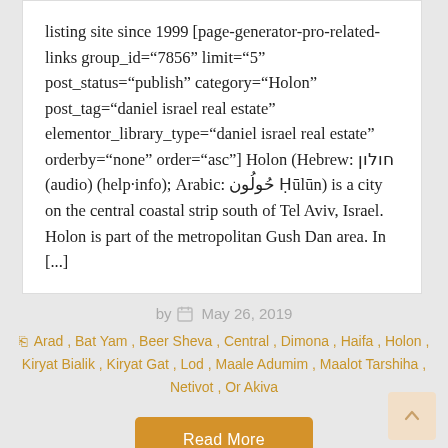listing site since 1999 [page-generator-pro-related-links group_id="7856" limit="5" post_status="publish" category="Holon" post_tag="daniel israel real estate" elementor_library_type="daniel israel real estate" orderby="none" order="asc"] Holon (Hebrew: חולון (audio) (help·info); Arabic: حُولُون Ḥūlūn) is a city on the central coastal strip south of Tel Aviv, Israel. Holon is part of the metropolitan Gush Dan area. In [...]
by  May 26, 2019
Arad , Bat Yam , Beer Sheva , Central , Dimona , Haifa , Holon , Kiryat Bialik , Kiryat Gat , Lod , Maale Adumim , Maalot Tarshiha , Netivot , Or Akiva
Read More